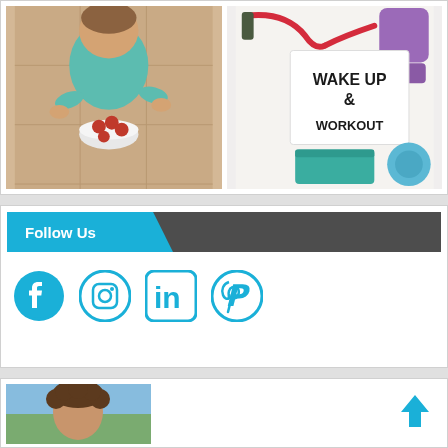[Figure (photo): Two photos side by side: left shows a toddler in teal top looking at bowl of raspberries on tiled floor; right shows fitness equipment (dumbbells, jump rope, yoga block) with a lightbox sign reading WAKE UP & WORKOUT]
[Figure (infographic): Follow Us banner with blue diagonal label on dark background, followed by four social media icons: Facebook, Instagram, LinkedIn, Pinterest]
[Figure (photo): Partial photo of a man with curly hair outdoors, with a back-to-top arrow icon on the right]